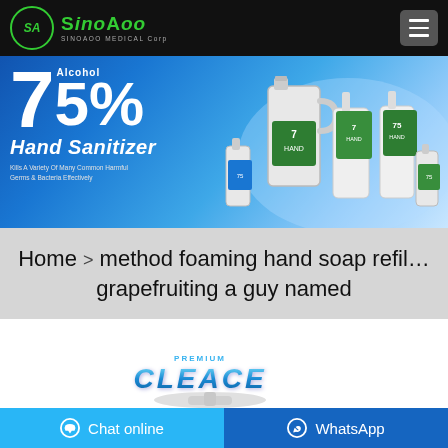[Figure (logo): SinoAoo Medical Corp logo with green circular SA emblem and green text 'SinoAoo' with subtitle 'SINOAOO MEDICAL Corp']
[Figure (photo): Banner advertisement showing 75% Alcohol Hand Sanitizer with blue gradient background and multiple hand sanitizer product bottles. Text: '75% Alcohol Hand Sanitizer - Kills A Variety Of Many Common Harmful Germs & Bacteria Effectively']
Home > method foaming hand soap refil… grapefruiting a guy named
[Figure (logo): Cleace brand logo in blue 3D bubble letters with small text 'PREMIUM' above]
[Figure (photo): Partial view of a hand soap pump bottle dispenser in light grey/white]
Chat online
WhatsApp